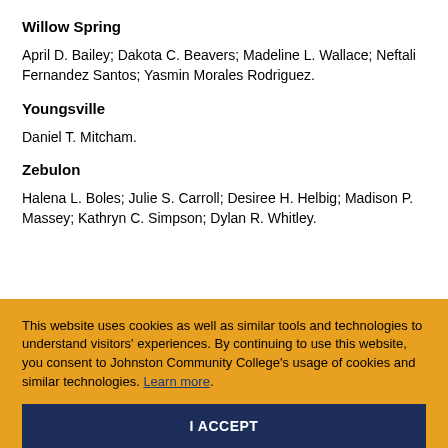Willow Spring
April D. Bailey; Dakota C. Beavers; Madeline L. Wallace; Neftali Fernandez Santos; Yasmin Morales Rodriguez.
Youngsville
Daniel T. Mitcham.
Zebulon
Halena L. Boles; Julie S. Carroll; Desiree H. Helbig; Madison P. Massey; Kathryn C. Simpson; Dylan R. Whitley.
This website uses cookies as well as similar tools and technologies to understand visitors' experiences. By continuing to use this website, you consent to Johnston Community College's usage of cookies and similar technologies. Learn more.
I ACCEPT